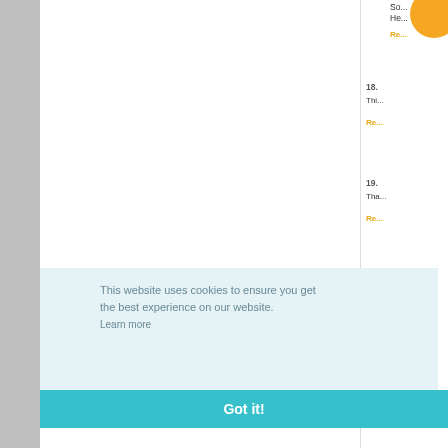So... He...
Rep...
18.
Thi...
Rep...
19.
Tha...
Rep...
20.
LO...
Rep...
This website uses cookies to ensure you get the best experience on our website. Learn more
Got it!